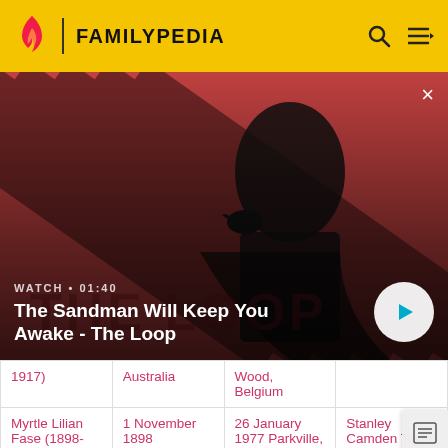FAMILYPEDIA
[Figure (screenshot): Hero banner for 'The Sandman Will Keep You Awake - The Loop' showing a dark-clad figure with a raven on a red diagonal-striped background. Includes a play button and WATCH • 01:40 label.]
| 1917) | Australia | Wood, Belgium |  |
| Myrtle Lilian Fase (1898-1977) | 1 November 1898 Collingwood, Victoria, | 26 January 1977 Parkville, Victoria, | Stanley Camden Taylor (1899-1986) |